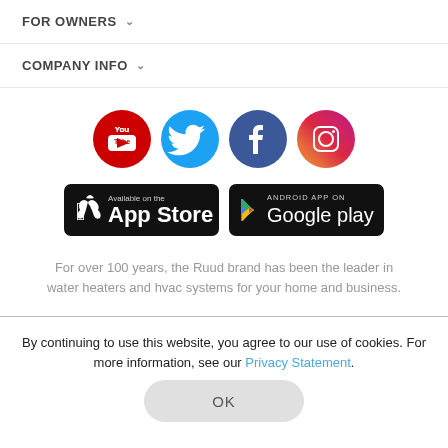FOR OWNERS ∨
COMPANY INFO ∨
[Figure (logo): Social media icons: YouTube, Twitter, Facebook, Instagram]
[Figure (logo): App Store and Google Play download badges]
For over 100 years, the Ruud brand has been the leader in water heaters and hvac systems for your home and business.
By continuing to use this website, you agree to our use of cookies. For more information, see our Privacy Statement.
© Copyright 2000 - 2023 Rheem Manufacturing Company, All Rights Reserved. Corporate Office: 1600 Northside Drive NW, Suite 400, Atlanta, GA 30318